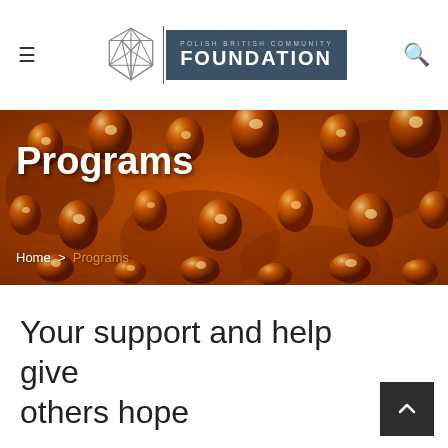Polish British Community Foundation
[Figure (illustration): Orange water droplets on dark background serving as hero banner]
Programs
Home > Programs
Your support and help give others hope